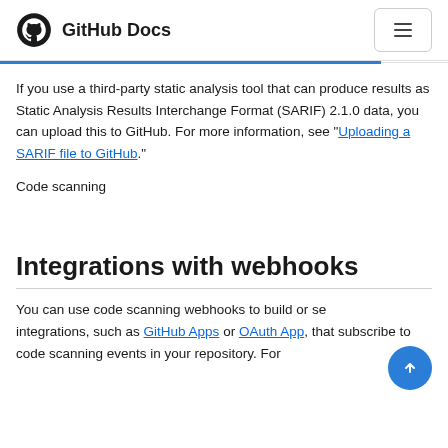GitHub Docs
If you use a third-party static analysis tool that can produce results as Static Analysis Results Interchange Format (SARIF) 2.1.0 data, you can upload this to GitHub. For more information, see "Uploading a SARIF file to GitHub."
Code scanning [CJK characters]
Integrations with webhooks
You can use code scanning webhooks to build or set integrations, such as GitHub Apps or OAuth App, that subscribe to code scanning events in your repository. For